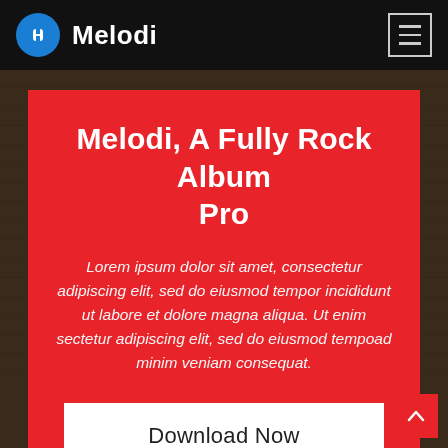Melodi
Melodi, A Fully Rock Album Pro
Lorem ipsum dolor sit amet, consectetur adipiscing elit, sed do eiusmod tempor incididunt ut labore et dolore magna aliqua. Ut enim sectetur adipiscing elit, sed do eiusmod tempoad minim veniam consequat.
Download Now